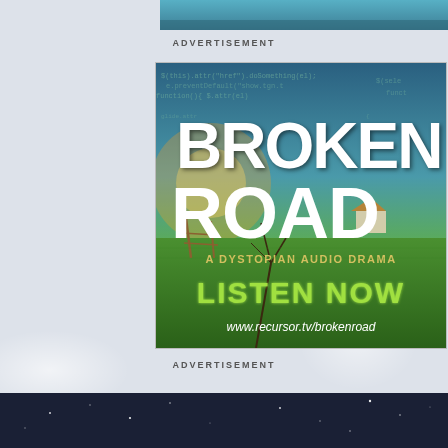[Figure (screenshot): Top partial image strip showing teal/blue tones]
ADVERTISEMENT
[Figure (illustration): Advertisement for Broken Road - A Dystopian Audio Drama. Large white bold text reading BROKEN ROAD over a landscape background with code overlay. Subtitle: A DYSTOPIAN AUDIO DRAMA. Call to action: LISTEN NOW in green glowing text. URL: www.recursor.tv/brokenroad]
ADVERTISEMENT
© 2022 Uncanny Magazine. Site design by Clockpunk Studios.